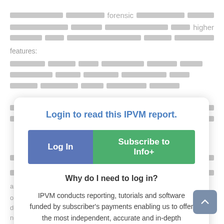forensic
higher
features:
[Figure (screenshot): Login modal overlay with 'Login to read this IPVM report.' title, Log In and Subscribe to Info+ buttons, and explanatory text about IPVM's subscriber-funded reporting.]
analytics or deployed needs